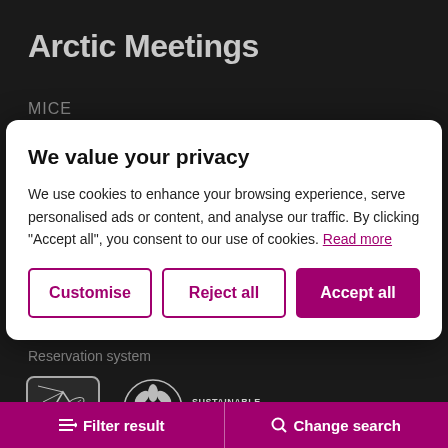Arctic Meetings
MICE
We value your privacy
We use cookies to enhance your browsing experience, serve personalised ads or content, and analyse our traffic. By clicking "Accept all", you consent to our use of cookies. Read more
Customise | Reject all | Accept all
Reservation system
[Figure (logo): Eco-lighthouse certification logo with lighthouse beam and leaf graphic, rounded square border]
Eco-lighthouse®
[Figure (logo): Sustainable Destination circular logo with flower/snowflake design]
SUSTAINABLE DESTINATION
Filter result   Change search